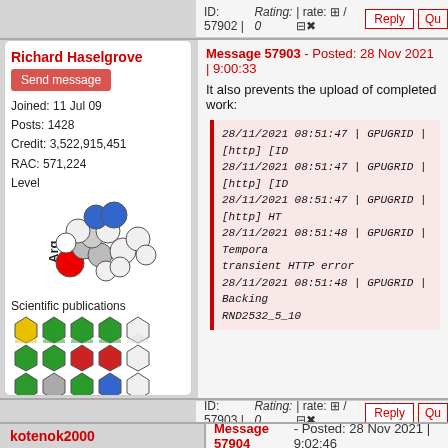ID: 57902 | Rating: 0 | rate: +/- | Reply | Qu
Richard Haselgrove
Send message
Joined: 11 Jul 09
Posts: 1428
Credit: 3,522,915,451
RAC: 571,224
Level
[Figure (illustration): 3D molecular structure diagram labeled Arg (arginine)]
Scientific publications
[Figure (illustration): Grid of colored diamond/badge icons representing scientific publications]
Message 57903 - Posted: 28 Nov 2021 | 9:00:33
It also prevents the upload of completed work:
28/11/2021 08:51:47 | GPUGRID | [http] [ID
28/11/2021 08:51:47 | GPUGRID | [http] [ID
28/11/2021 08:51:47 | GPUGRID | [http] HT
28/11/2021 08:51:48 | GPUGRID | Tempora transient HTTP error
28/11/2021 08:51:48 | GPUGRID | Backing RND2532_5_10
ID: 57903 | Rating: 0 | rate: +/- | Reply | Qu
kotenok2000
Message 57904 - Posted: 28 Nov 2021 | 9:02:46